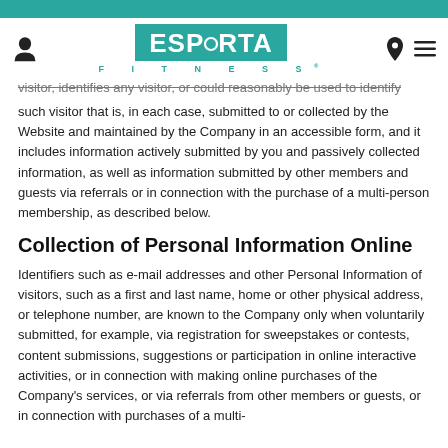Esporta Fitness website header with logo, person icon, location icon, and menu icon
visitor, identifies any visitor, or could reasonably be used to identify such visitor that is, in each case, submitted to or collected by the Website and maintained by the Company in an accessible form, and it includes information actively submitted by you and passively collected information, as well as information submitted by other members and guests via referrals or in connection with the purchase of a multi-person membership, as described below.
Collection of Personal Information Online
Identifiers such as e-mail addresses and other Personal Information of visitors, such as a first and last name, home or other physical address, or telephone number, are known to the Company only when voluntarily submitted, for example, via registration for sweepstakes or contests, content submissions, suggestions or participation in online interactive activities, or in connection with making online purchases of the Company's services, or via referrals from other members or guests, or in connection with purchases of a multi-